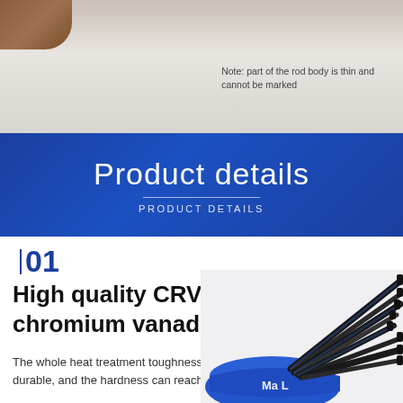[Figure (photo): Top section showing a brown object against a light gray/white background, with a note about rod body markings]
Note: part of the rod body is thin and cannot be marked
Product details
PRODUCT DETAILS
01
High quality CRV chromium vanadium steel
The whole heat treatment toughness is good, durable, and the hardness can reach HRC53
[Figure (photo): Hex key allen wrench set with blue handle holder and multiple black chrome vanadium steel wrenches arranged in a fan pattern, branded Ma L]